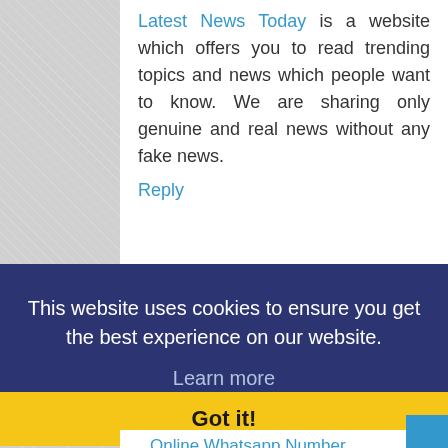Latest News Today is a website which offers you to read trending topics and news which people want to know. We are sharing only genuine and real news without any fake news.
Reply
This website uses cookies to ensure you get the best experience on our website.
Learn more
Got it!
Online Whatsapp Number